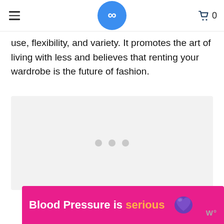use, flexibility, and variety. It promotes the art of living with less and believes that renting your wardrobe is the future of fashion.
[Figure (other): Image carousel placeholder with three grey dots indicating loading or empty image state]
[Figure (other): Advertisement banner: Blood Pressure is serious with a purple heart icon and a logo on the right]